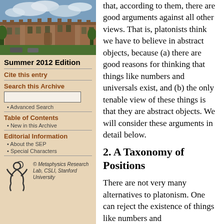[Figure (photo): Photograph of a historic university building with stonework architecture and a cloudy sky]
Summer 2012 Edition
Cite this entry
Search this Archive
Advanced Search
Table of Contents
New in this Archive
Editorial Information
About the SEP
Special Characters
[Figure (logo): Metaphysics Research Lab logo — stylized figure]
© Metaphysics Research Lab, CSLI, Stanford University
that, according to them, there are good arguments against all other views. That is, platonists think we have to believe in abstract objects, because (a) there are good reasons for thinking that things like numbers and universals exist, and (b) the only tenable view of these things is that they are abstract objects. We will consider these arguments in detail below.
2. A Taxonomy of Positions
There are not very many alternatives to platonism. One can reject the existence of things like numbers and